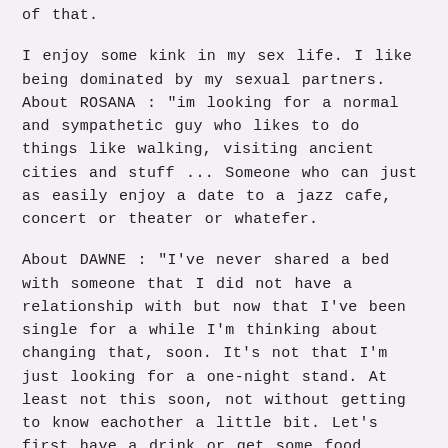of that.

I enjoy some kink in my sex life. I like being dominated by my sexual partners. About ROSANA : "im looking for a normal and sympathetic guy who likes to do things like walking, visiting ancient cities and stuff ... Someone who can just as easily enjoy a date to a jazz cafe, concert or theater or whatefer.

About DAWNE : "I've never shared a bed with someone that I did not have a relationship with but now that I've been single for a while I'm thinking about changing that, soon. It's not that I'm just looking for a one-night stand. At least not this soon, not without getting to know eachother a little bit. Let's first have a drink or get some food together and then we will see what the night canl bring. Iis this also what you are looking for?